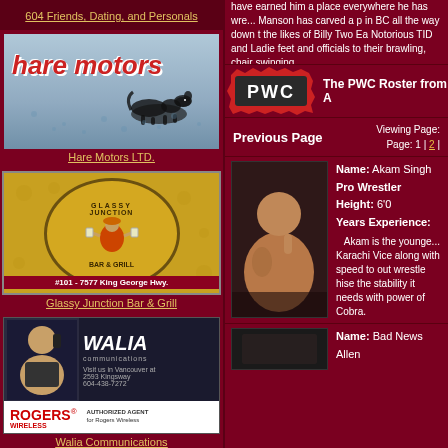604 Friends, Dating, and Personals
[Figure (photo): Hare Motors advertisement with stylized italic red text on blue-gray background with dog silhouette]
Hare Motors LTD.
[Figure (logo): Glassy Junction Bar & Grill circular logo with turbaned figure holding beer mugs on orange/gold background]
Glassy Junction Bar & Grill
[Figure (photo): Walia Communications advertisement featuring man with phone, Rogers Wireless authorized agent]
Walia Communications
have earned him a place everywhere he has wre... Manson has carved a p in BC all the way down t the likes of Billy Two Ea Notorious TID and Ladie feet and officials to their brawling, chair swinging
[Figure (logo): PWC logo with jagged red border and white text on dark background]
The PWC Roster from A
Previous Page
Viewing Page: Page: 1 | 2 |
[Figure (photo): Photo of Akam Singh, a bald wrestler with tattoos holding up one finger]
Name: Akam Singh
Pro Wrestler
Height: 6'0
Years Experience:
Akam is the younge... Karachi Vice along with speed to out wrestle hise the stability it needs with power of Cobra.
Name: Bad News Allen